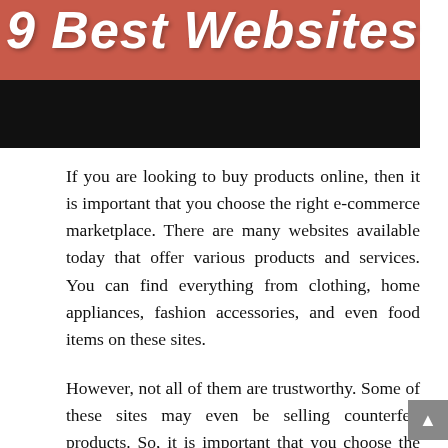[Figure (photo): Banner image with red/coral background showing partial text '9 Best Websites' in bold white italic font with decorative element, and a black bar below it]
If you are looking to buy products online, then it is important that you choose the right e-commerce marketplace. There are many websites available today that offer various products and services. You can find everything from clothing, home appliances, fashion accessories, and even food items on these sites.
However, not all of them are trustworthy. Some of these sites may even be selling counterfeit products. So, it is important that you choose the right site to buy from. You can find many different online shopping sites on the internet